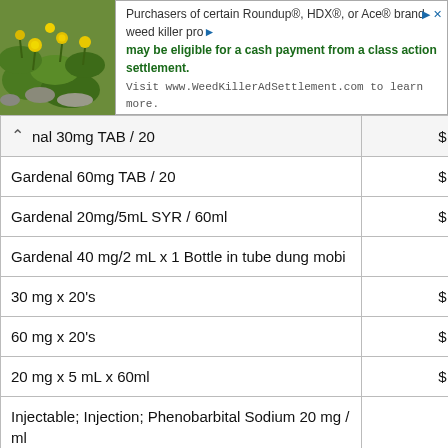[Figure (infographic): Advertisement banner: photo of green plant with yellow flowers on left, text on right: 'Purchasers of certain Roundup®, HDX®, or Ace® brand weed killer products may be eligible for a cash payment from a class action settlement. Visit www.WeedKillerAdSettlement.com to learn more.']
| Product | Price |
| --- | --- |
| nal 30mg TAB / 20 | $ 0.59 |
| Gardenal 60mg TAB / 20 | $ 0.81 |
| Gardenal 20mg/5mL SYR / 60ml | $ 0.73 |
| Gardenal 40 mg/2 mL x 1 Bottle in tube dung mobi |  |
| 30 mg x 20's | $ 0.54 |
| 60 mg x 20's | $ 0.74 |
| 20 mg x 5 mL x 60ml | $ 0.73 |
| Injectable; Injection; Phenobarbital Sodium 20 mg / ml |  |
| Injectable; Injection; Phenobarbital Sodium 50 mg / ml |  |
| Syrup; Oral; Phenobarbital 20 mg / 5 ml |  |